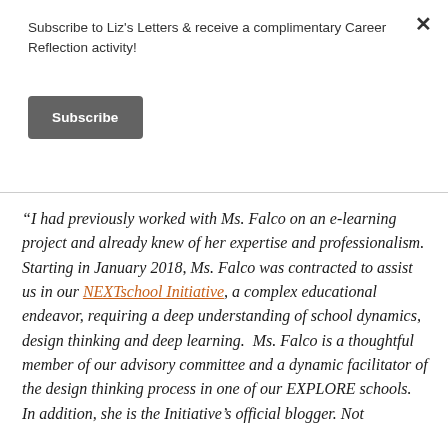Subscribe to Liz's Letters & receive a complimentary Career Reflection activity!
Subscribe
“I had previously worked with Ms. Falco on an e-learning project and already knew of her expertise and professionalism.  Starting in January 2018, Ms. Falco was contracted to assist us in our NEXTschool Initiative, a complex educational endeavor, requiring a deep understanding of school dynamics, design thinking and deep learning.  Ms. Falco is a thoughtful member of our advisory committee and a dynamic facilitator of the design thinking process in one of our EXPLORE schools.  In addition, she is the Initiative’s official blogger. Not